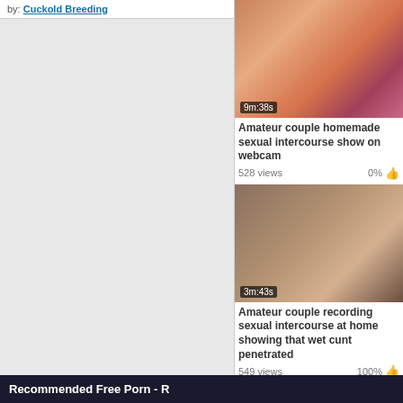by: Cuckold Breeding
[Figure (photo): Video thumbnail showing adult content with duration badge 9m:38s]
Amateur couple homemade sexual intercourse show on webcam
528 views   0%  👍
[Figure (photo): Video thumbnail showing adult content with duration badge 6m:2...]
Amat... video... stran...
9 223
[Figure (photo): Video thumbnail showing adult content with duration badge 3m:43s]
Amateur couple recording sexual intercourse at home showing that wet cunt penetrated
549 views   100%  👍
[Figure (photo): Video thumbnail on right side with duration badge 7m:3...]
Amat... inter... morr...
254 v
Recommended Free Porn - R